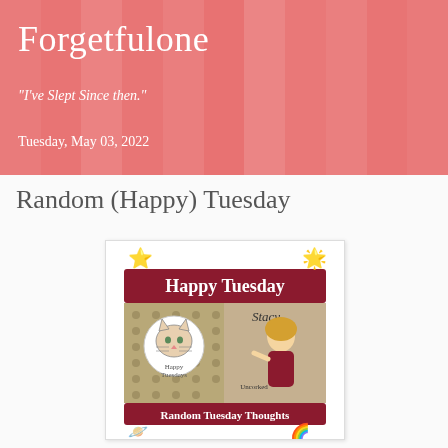Forgetfulone
"I've Slept Since then."
Tuesday, May 03, 2022
Random (Happy) Tuesday
[Figure (illustration): A badge/logo image showing 'Happy Tuesday' text on a dark red banner at top, a cartoon cat and dog illustration on the left, a blonde illustrated woman on the right labeled 'Stacy', 'Random Tuesday Thoughts' text on a dark red banner at bottom, with star emoji decorations at top corners, a planet emoji at bottom left, and a rainbow emoji at bottom right, on a white background with thin border.]